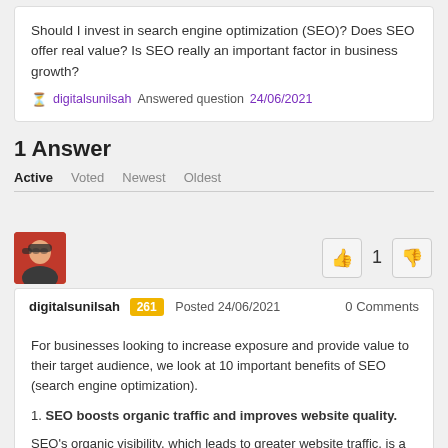Should I invest in search engine optimization (SEO)? Does SEO offer real value? Is SEO really an important factor in business growth?
digitalsunilsah Answered question 24/06/2021
1 Answer
Active  Voted  Newest  Oldest
digitalsunilsah  261  Posted 24/06/2021    0 Comments
For businesses looking to increase exposure and provide value to their target audience, we look at 10 important benefits of SEO (search engine optimization).
1. SEO boosts organic traffic and improves website quality.
SEO's organic visibility, which leads to greater website traffic, is a huge benefit. Customer-centric search engine optimization is hyper-targeted. Through relevant search queries, a strong SEO plan will...